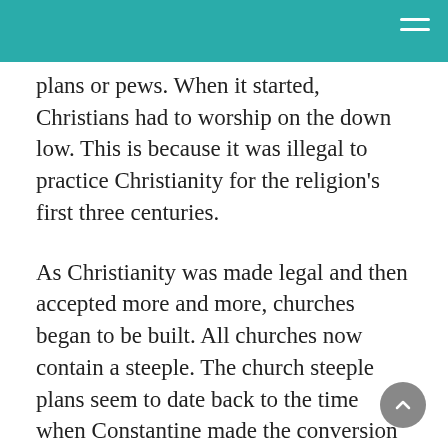plans or pews. When it started, Christians had to worship on the down low. This is because it was illegal to practice Christianity for the religion's first three centuries.
As Christianity was made legal and then accepted more and more, churches began to be built. All churches now contain a steeple. The church steeple plans seem to date back to the time when Constantine made the conversion to Christianity and brought the Roman Empire with him. Originally, these symbols may have been used in Egyptian